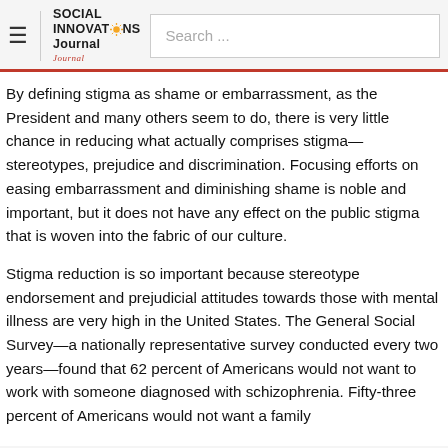Social Innovations Journal — Search bar header
By defining stigma as shame or embarrassment, as the President and many others seem to do, there is very little chance in reducing what actually comprises stigma—stereotypes, prejudice and discrimination. Focusing efforts on easing embarrassment and diminishing shame is noble and important, but it does not have any effect on the public stigma that is woven into the fabric of our culture.
Stigma reduction is so important because stereotype endorsement and prejudicial attitudes towards those with mental illness are very high in the United States. The General Social Survey—a nationally representative survey conducted every two years—found that 62 percent of Americans would not want to work with someone diagnosed with schizophrenia. Fifty-three percent of Americans would not want a family